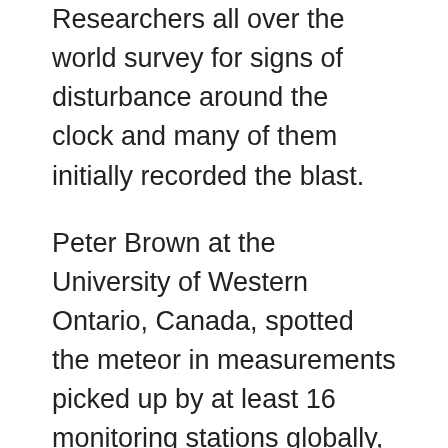Researchers all over the world survey for signs of disturbance around the clock and many of them initially recorded the blast.
Peter Brown at the University of Western Ontario, Canada, spotted the meteor in measurements picked up by at least 16 monitoring stations globally, according to NewScientist.
Alan Fitzsimmons of Queen's University Belfast, UK said that “It would have been quite spectacular” to see.